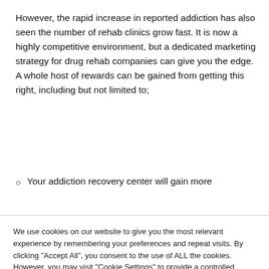However, the rapid increase in reported addiction has also seen the number of rehab clinics grow fast. It is now a highly competitive environment, but a dedicated marketing strategy for drug rehab companies can give you the edge. A whole host of rewards can be gained from getting this right, including but not limited to;
Your addiction recovery center will gain more
We use cookies on our website to give you the most relevant experience by remembering your preferences and repeat visits. By clicking "Accept All", you consent to the use of ALL the cookies. However, you may visit "Cookie Settings" to provide a controlled consent.